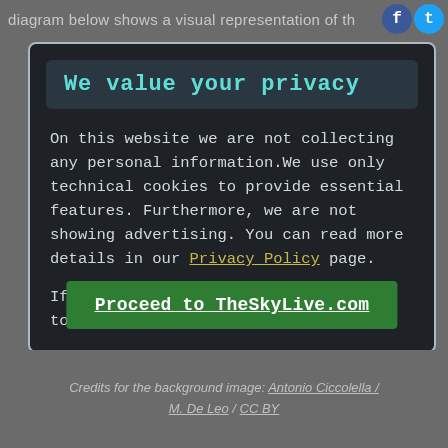diagram below shows a visual representation of th
We value your privacy
On this website we are not collecting any personal information.We use only technical cookies to provide essential features. Furthermore, we are not showing advertising. You can read more details in our Privacy Policy page.
If you proceed we'll assume you agree to receive our cookies. Thank you.
Proceed to TheSkyLive.com
Credits for the background image: Antonio Ciccolella / M. De Leo / CC BY